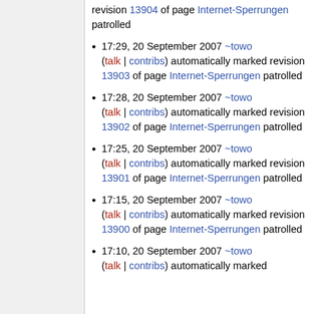revision 13904 of page Internet-Sperrungen patrolled
17:29, 20 September 2007 ~towo (talk | contribs) automatically marked revision 13903 of page Internet-Sperrungen patrolled
17:28, 20 September 2007 ~towo (talk | contribs) automatically marked revision 13902 of page Internet-Sperrungen patrolled
17:25, 20 September 2007 ~towo (talk | contribs) automatically marked revision 13901 of page Internet-Sperrungen patrolled
17:15, 20 September 2007 ~towo (talk | contribs) automatically marked revision 13900 of page Internet-Sperrungen patrolled
17:10, 20 September 2007 ~towo (talk | contribs) automatically marked